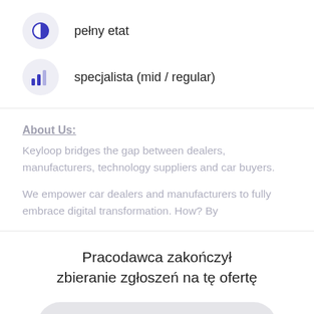pełny etat
specjalista (mid / regular)
About Us:
Keyloop bridges the gap between dealers, manufacturers, technology suppliers and car buyers.
We empower car dealers and manufacturers to fully embrace digital transformation. How? By
Pracodawca zakończył zbieranie zgłoszeń na tę ofertę
Aktualne oferty pracodawcy